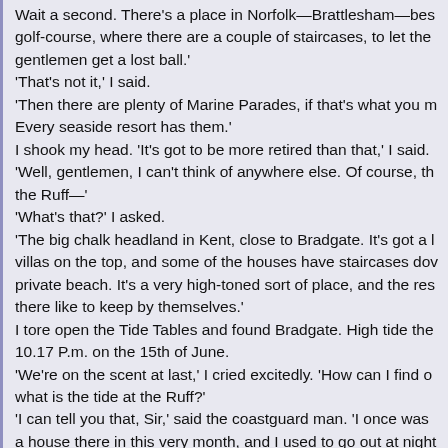Wait a second. There's a place in Norfolk—Brattlesham—bes golf-course, where there are a couple of staircases, to let the gentlemen get a lost ball.' 'That's not it,' I said. 'Then there are plenty of Marine Parades, if that's what you m Every seaside resort has them.' I shook my head. 'It's got to be more retired than that,' I said. 'Well, gentlemen, I can't think of anywhere else. Of course, th the Ruff—' 'What's that?' I asked. 'The big chalk headland in Kent, close to Bradgate. It's got a l villas on the top, and some of the houses have staircases dov private beach. It's a very high-toned sort of place, and the res there like to keep by themselves.' I tore open the Tide Tables and found Bradgate. High tide the 10.17 P.m. on the 15th of June. 'We're on the scent at last,' I cried excitedly. 'How can I find o what is the tide at the Ruff?' 'I can tell you that, Sir,' said the coastguard man. 'I once was a house there in this very month, and I used to go out at night